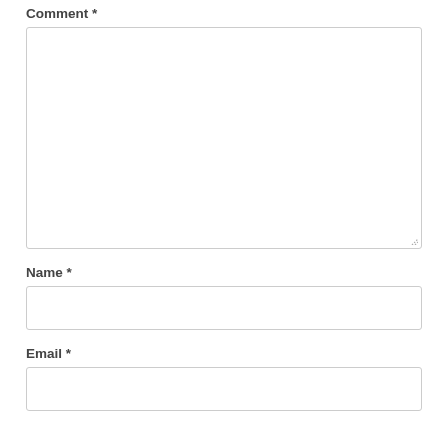Comment *
[Figure (other): Large empty comment textarea input field with a resize handle in the bottom-right corner]
Name *
[Figure (other): Single-line name input field]
Email *
[Figure (other): Single-line email input field]